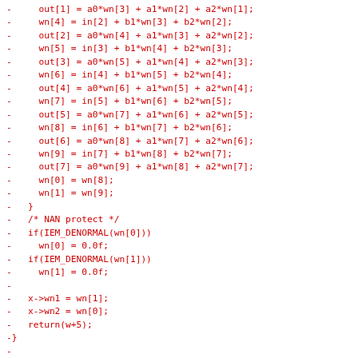[Figure (other): Diff/patch code block showing removed lines (prefixed with '-') of C source code in red monospace font, including array assignments for wn and out arrays, NAN protection with IEM_DENORMAL macro, state variable assignments, a return statement, closing brace, and the start of a new static function sigfilter_perform_1o.]